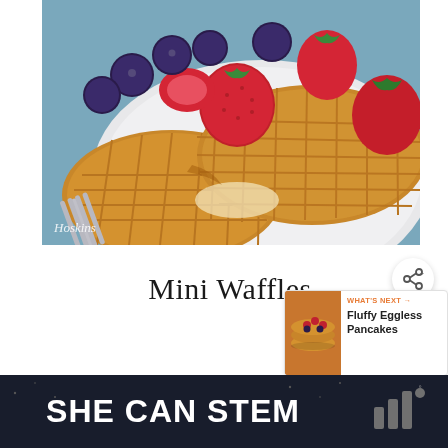[Figure (photo): Close-up photo of mini waffles on a white plate topped with fresh strawberries and blueberries, with a fork visible in the lower left. Photo credit: Hoskins.]
Hoskins
Mini Waffles
WHAT'S NEXT → Fluffy Eggless Pancakes
Homemade Mini Waffles is made
[Figure (photo): Dark advertisement banner reading SHE CAN STEM in large white bold text, with a partial logo on the right side.]